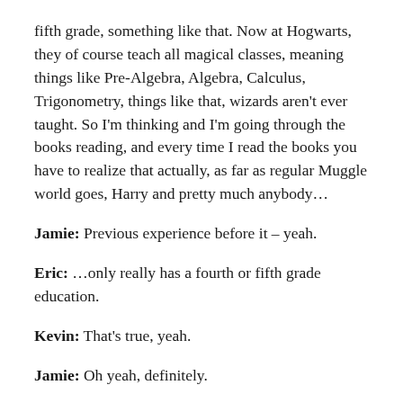fifth grade, something like that. Now at Hogwarts, they of course teach all magical classes, meaning things like Pre-Algebra, Algebra, Calculus, Trigonometry, things like that, wizards aren't ever taught. So I'm thinking and I'm going through the books reading, and every time I read the books you have to realize that actually, as far as regular Muggle world goes, Harry and pretty much anybody…
Jamie: Previous experience before it – yeah.
Eric: …only really has a fourth or fifth grade education.
Kevin: That's true, yeah.
Jamie: Oh yeah, definitely.
Eric: You know, formally.